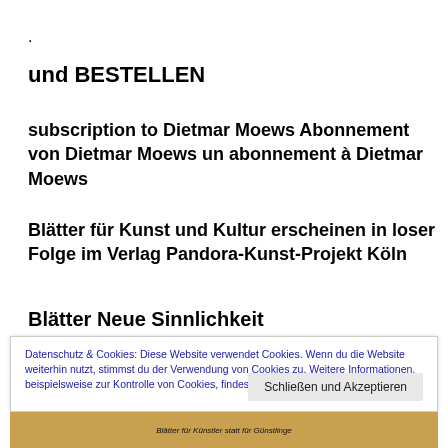.
und BESTELLEN
subscription to Dietmar Moews Abonnement von Dietmar Moews un abonnement à Dietmar Moews
Blätter für Kunst und Kultur erscheinen in loser Folge im Verlag Pandora-Kunst-Projekt Köln
Blätter Neue Sinnlichkeit
Datenschutz & Cookies: Diese Website verwendet Cookies. Wenn du die Website weiterhin nutzt, stimmst du der Verwendung von Cookies zu. Weitere Informationen, beispielsweise zur Kontrolle von Cookies, findest du hier: Cookie-Richtlinie
Schließen und Akzeptieren
[Figure (photo): Bottom strip showing a book or publication cover with text 'Blätter für Künstler statt für Günstlinge']